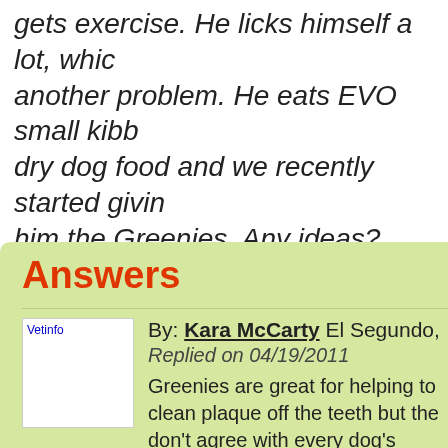gets exercise. He licks himself a lot, which is another problem. He eats EVO small kibb dry dog food and we recently started giving him the Greenies. Any ideas?
Answers
By: Kara McCarty El Segundo, Replied on 04/19/2011
Greenies are great for helping to clean plaque off the teeth but they don't agree with every dog's gastrointestinal system. Because Greenies are something new and your dog's symptoms are new they may be related. Whining can be a sign of pain and he may have ha